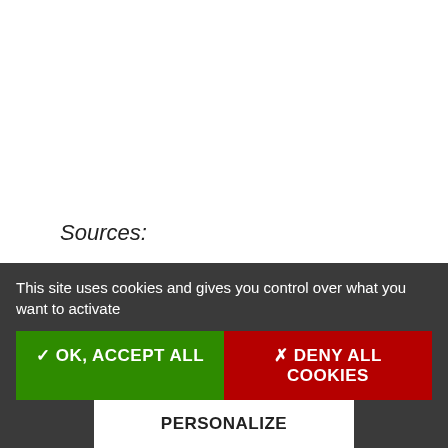Sources:
El País
Ayuntamiento de Madrid
Organismes nationaux de statistiques: INE & INSEE
This site uses cookies and gives you control over what you want to activate
✓ OK, ACCEPT ALL
✗ DENY ALL COOKIES
PERSONALIZE